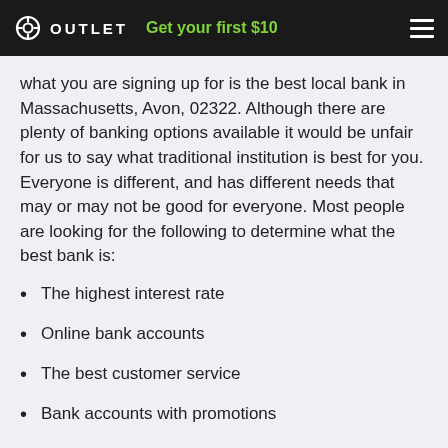OUTLET  Get your first $10
what you are signing up for is the best local bank in Massachusetts, Avon, 02322. Although there are plenty of banking options available it would be unfair for us to say what traditional institution is best for you. Everyone is different, and has different needs that may or may not be good for everyone. Most people are looking for the following to determine what the best bank is:
The highest interest rate
Online bank accounts
The best customer service
Bank accounts with promotions